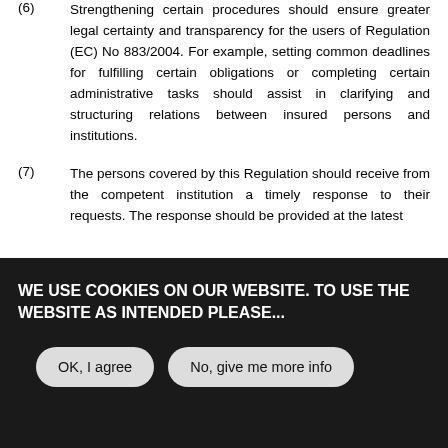(6) Strengthening certain procedures should ensure greater legal certainty and transparency for the users of Regulation (EC) No 883/2004. For example, setting common deadlines for fulfilling certain obligations or completing certain administrative tasks should assist in clarifying and structuring relations between insured persons and institutions.
(7) The persons covered by this Regulation should receive from the competent institution a timely response to their requests. The response should be provided at the latest
WE USE COOKIES ON OUR WEBSITE. TO USE THE WEBSITE AS INTENDED PLEASE...
OK, I agree
No, give me more info